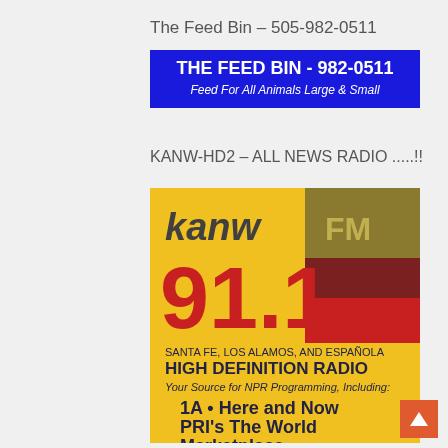The Feed Bin – 505-982-0511
[Figure (logo): The Feed Bin logo — blue background with white bold text 'THE FEED BIN - 982-0511' and italic text 'Feed For All Animals Large & Small']
KANW-HD2 – ALL NEWS RADIO .....!!
[Figure (logo): KANW FM 91.1 FM radio station logo — yellow/gold background with dark red and red large text '91.1FM', dark text 'kanw FM', text 'SANTA FE, LOS ALAMOS, AND ESPAÑOLA', bold dark blue text 'HIGH DEFINITION RADIO', italic 'Your Source for NPR Programming, Including:', bold dark blue '1A • Here and Now', 'PRI's The World', 'Marketplace']